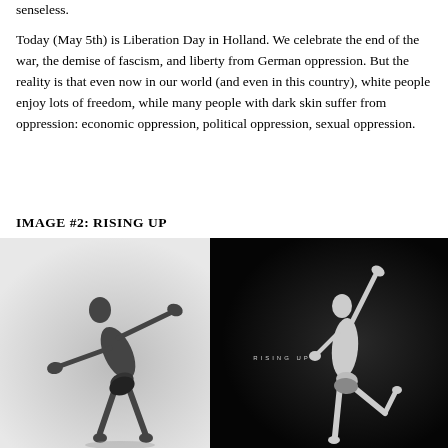senseless.
Today (May 5th) is Liberation Day in Holland. We celebrate the end of the war, the demise of fascism, and liberty from German oppression. But the reality is that even now in our world (and even in this country), white people enjoy lots of freedom, while many people with dark skin suffer from oppression: economic oppression, political oppression, sexual oppression.
IMAGE #2: RISING UP
[Figure (photo): Two black-and-white artistic photos side by side of a dancer (male, minimal clothing) in expressive poses against white and black backgrounds respectively. The right image has 'RISING UP' text overlaid.]